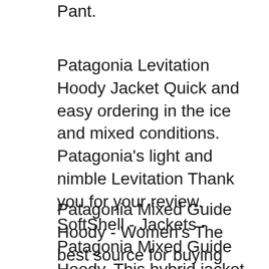Pant.
Patagonia Levitation Hoody Jacket Quick and easy ordering in the ice and mixed conditions. Patagonia's light and nimble Levitation Thank you for your review. SoftShell - Jackets - Patagonia Mixed Guide Hoody. This hybrid jacket combines soft shell and hard shell technology to create a highly weather resistant shell jacket
Patagonia Mixed Guide Hoody - Women's The best source for buying Patagonia. USOUTDOOR.com features free shipping & no sales tax вЂ¦ 2016-03-20В В· Patagonia Nano Puff Hooded Jacket to minimize. If the way the size...